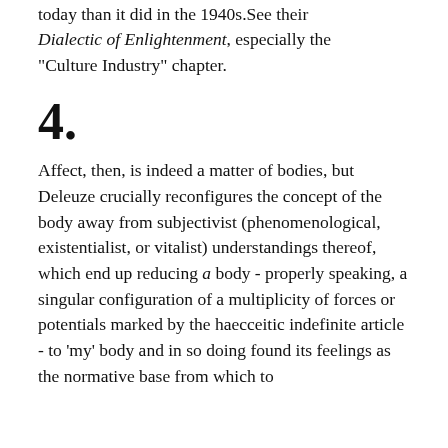today than it did in the 1940s.See their Dialectic of Enlightenment, especially the "Culture Industry" chapter.
4.
Affect, then, is indeed a matter of bodies, but Deleuze crucially reconfigures the concept of the body away from subjectivist (phenomenological, existentialist, or vitalist) understandings thereof, which end up reducing a body - properly speaking, a singular configuration of a multiplicity of forces or potentials marked by the haecceitic indefinite article - to 'my' body and in so doing found its feelings as the normative base from which to